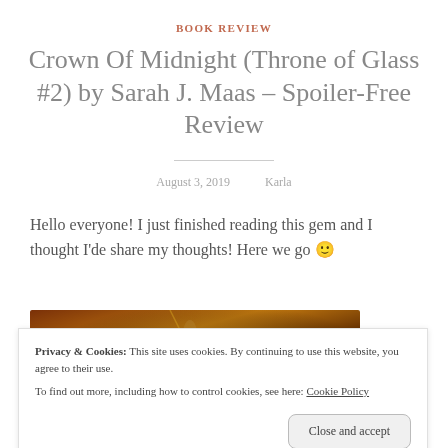BOOK REVIEW
Crown Of Midnight (Throne of Glass #2) by Sarah J. Maas – Spoiler-Free Review
August 3, 2019   Karla
Hello everyone! I just finished reading this gem and I thought I'de share my thoughts! Here we go 🙂
[Figure (photo): Book cover image for Crown of Midnight, partially visible with warm brown and orange tones]
Privacy & Cookies: This site uses cookies. By continuing to use this website, you agree to their use.
To find out more, including how to control cookies, see here: Cookie Policy
[Close and accept button]